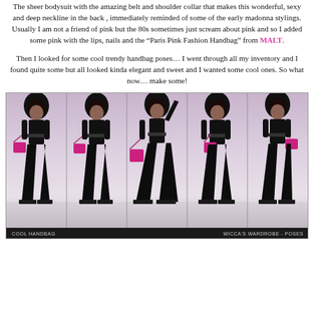The sheer bodysuit with the amazing belt and shoulder collar that makes this wonderful, sexy and deep neckline in the back , immediately reminded of some of the early madonna stylings. Usually I am not a friend of pink but the 80s sometimes just scream about pink and so I added some pink with the lips, nails and the “Paris Pink Fashion Handbag” from MALT.
Then I looked for some cool trendy handbag poses… I went through all my inventory and I found quite some but all looked kinda elegant and sweet and I wanted some cool ones. So what now… make some!
[Figure (illustration): Five panels showing a virtual avatar character in a black bodysuit outfit with large curly black hair, holding or posing with a pink/magenta handbag. Labels at bottom read 'COOL HANDBAG' on left and 'WICCA'S WARDROBE - POSES' on right.]